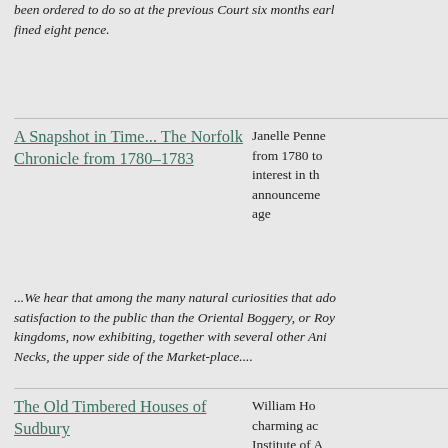been ordered to do so at the previous Court six months earl fined eight pence.
A Snapshot in Time... The Norfolk Chronicle from 1780–1783
Janelle Penne from 1780 to interest in th announceme age
...We hear that among the many natural curiosities that ado satisfaction to the public than the Oriental Boggery, or Roy kingdoms, now exhibiting, together with several other Ani Necks, the upper side of the Market-place....
The Old Timbered Houses of Sudbury
William Ho charming ac Institute of A extraordinar